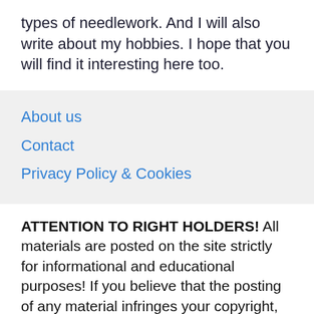types of needlework. And I will also write about my hobbies. I hope that you will find it interesting here too.
About us
Contact
Privacy Policy & Cookies
ATTENTION TO RIGHT HOLDERS! All materials are posted on the site strictly for informational and educational purposes! If you believe that the posting of any material infringes your copyright, be sure to contact us through the contact form and your material will be removed!